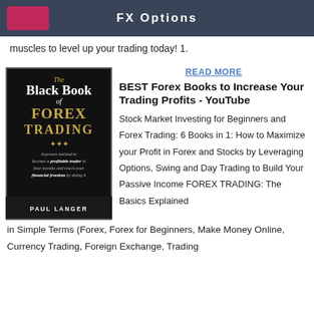FX Options
muscles to level up your trading today! 1.
[Figure (illustration): Book cover: The Black Book of FOREX TRADING by Paul Langer. A proven method to become a profitable trader in four months and reach your financial freedom by doing it.]
READ MORE
BEST Forex Books to Increase Your Trading Profits - YouTube
Stock Market Investing for Beginners and Forex Trading: 6 Books in 1: How to Maximize your Profit in Forex and Stocks by Leveraging Options, Swing and Day Trading to Build Your Passive Income FOREX TRADING: The Basics Explained in Simple Terms (Forex, Forex for Beginners, Make Money Online, Currency Trading, Foreign Exchange, Trading